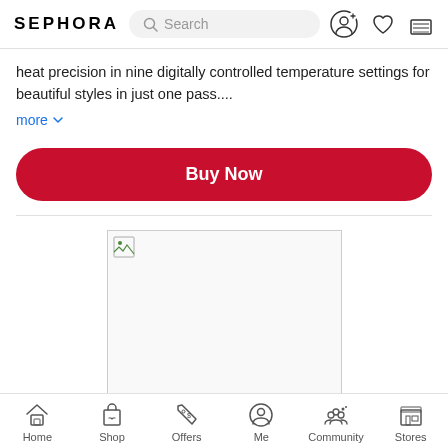SEPHORA
heat precision in nine digitally controlled temperature settings for beautiful styles in just one pass....
more
Buy Now
[Figure (photo): Broken/missing product image placeholder]
Home  Shop  Offers  Me  Community  Stores